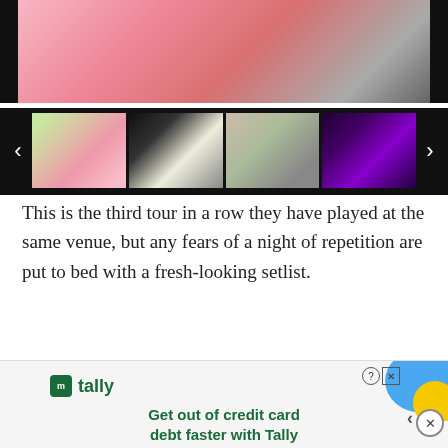[Figure (photo): Image gallery carousel with a main photo showing a person in a pink shirt, and a strip of four thumbnail images below. Left and right navigation arrows are visible.]
This is the third tour in a row they have played at the same venue, but any fears of a night of repetition are put to bed with a fresh-looking setlist.
[Figure (infographic): Tally advertisement: 'Get out of credit card debt faster with Tally' with a cartoon figure juggling credit cards, blue and yellow decorative shapes, and a close button.]